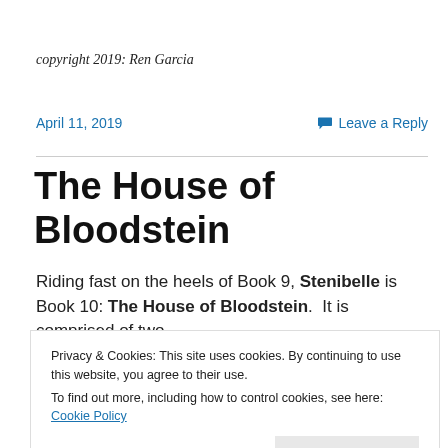copyright 2019: Ren Garcia
April 11, 2019
Leave a Reply
The House of Bloodstein
Riding fast on the heels of Book 9, Stenibelle is Book 10: The House of Bloodstein.  It is comprised of two volumes: the first being Dorlamum, and the second
Privacy & Cookies: This site uses cookies. By continuing to use this website, you agree to their use.
To find out more, including how to control cookies, see here: Cookie Policy
[Figure (photo): Book cover images at the bottom of the page]